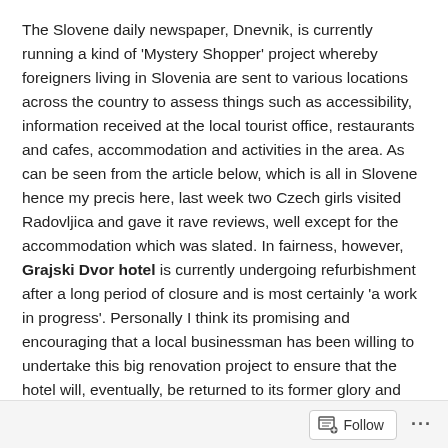The Slovene daily newspaper, Dnevnik, is currently running a kind of 'Mystery Shopper' project whereby foreigners living in Slovenia are sent to various locations across the country to assess things such as accessibility, information received at the local tourist office, restaurants and cafes, accommodation and activities in the area. As can be seen from the article below, which is all in Slovene hence my precis here, last week two Czech girls visited Radovljica and gave it rave reviews, well except for the accommodation which was slated. In fairness, however, Grajski Dvor hotel is currently undergoing refurbishment after a long period of closure and is most certainly 'a work in progress'. Personally I think its promising and encouraging that a local businessman has been willing to undertake this big renovation project to ensure that the hotel will, eventually, be returned to its former glory and will stay in local hands. I actually went to see the newly refurbished rooms for myself last week and what struck me most was how clean the place was. For a 3 star hotel, which doesn't pretend to be anything more, offers reasonable
Follow ···